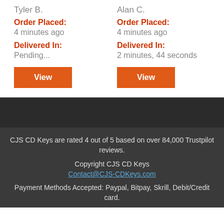Tyler B.
Order Placed:
4 minutes ago
Delivered In:
Pending...
Alan C.
Order Placed:
4 minutes ago
Delivered In:
2 minutes, 44 seconds
CJS CD Keys are rated 4 out of 5 based on over 84,000 Trustpilot reviews.
Copyright CJS CD Keys
Contact@CJS-CDKeys.com
Payment Methods Accepted: Paypal, Bitpay, Skrill, Debit/Credit card.